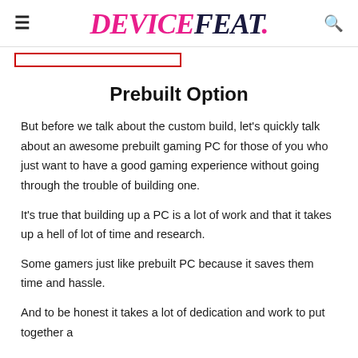DEVICEFEAT.
Prebuilt Option
But before we talk about the custom build, let's quickly talk about an awesome prebuilt gaming PC for those of you who just want to have a good gaming experience without going through the trouble of building one.
It's true that building up a PC is a lot of work and that it takes up a hell of lot of time and research.
Some gamers just like prebuilt PC because it saves them time and hassle.
And to be honest it takes a lot of dedication and work to put together a